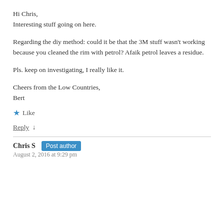Hi Chris,
Interesting stuff going on here.
Regarding the diy method: could it be that the 3M stuff wasn't working because you cleaned the rim with petrol? Afaik petrol leaves a residue.
Pls. keep on investigating, I really like it.
Cheers from the Low Countries,
Bert
★ Like
Reply ↓
Chris S  Post author
August 2, 2016 at 9:29 pm